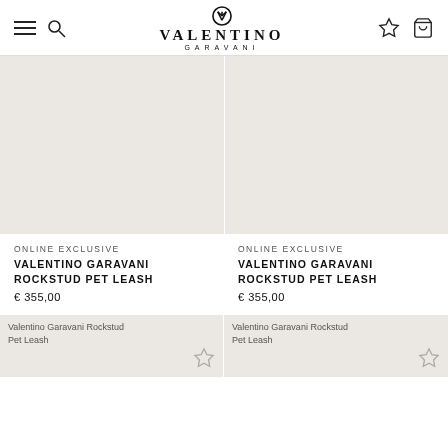Valentino Garavani — navigation bar with hamburger menu, search icon, logo, wishlist star, and bag icon
[Figure (photo): Product image placeholder (light beige) for Valentino Garavani Rockstud Pet Leash, left]
[Figure (photo): Product image placeholder (light beige) for Valentino Garavani Rockstud Pet Leash, right]
ONLINE EXCLUSIVE
VALENTINO GARAVANI ROCKSTUD PET LEASH
€ 355,00
ONLINE EXCLUSIVE
VALENTINO GARAVANI ROCKSTUD PET LEASH
€ 355,00
[Figure (photo): Partial product image (light beige) for Valentino Garavani Rockstud Pet Leash, bottom left, with wishlist star icon]
[Figure (photo): Partial product image (light beige) for Valentino Garavani Rockstud Pet Leash, bottom right, with wishlist star icon]